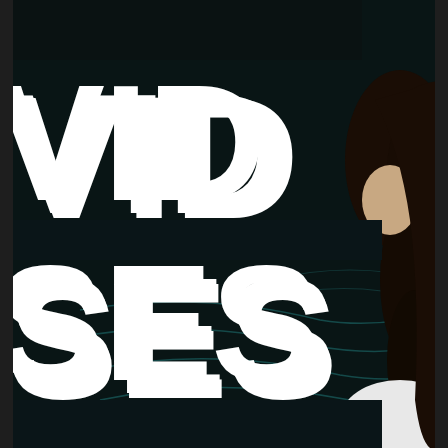[Figure (screenshot): A dark background video thumbnail showing large white bold text partially visible on the left: 'VID', 'SES', 'ASING' (parts of words, cropped). A YouTube-style play button (dark rounded rectangle with white triangle) is centered in the frame. On the right side, the profile of a person with long dark hair wearing a white top is partially visible. Teal/cyan flowing line graphics are visible in the background.]